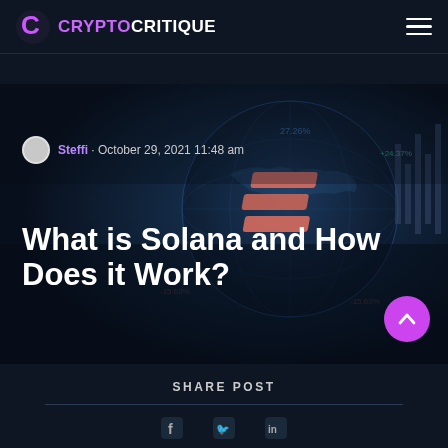CRYPTOCRITIQUE
[Figure (illustration): Hero banner image with dark blue background featuring a globe with financial chart data overlays and the Solana token logo (stylized S shape in salmon/pink color). Shows crypto market data numbers in the background.]
Steffi · October 29, 2021 11:48 am
What is Solana and How Does it Work?
SHARE POST